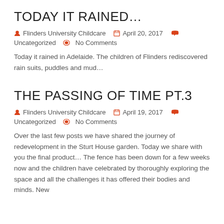TODAY IT RAINED…
Flinders University Childcare   April 20, 2017   Uncategorized   No Comments
Today it rained in Adelaide. The children of Flinders rediscovered rain suits, puddles and mud…
THE PASSING OF TIME PT.3
Flinders University Childcare   April 19, 2017   Uncategorized   No Comments
Over the last few posts we have shared the journey of redevelopment in the Sturt House garden. Today we share with you the final product… The fence has been down for a few weeks now and the children have celebrated by thoroughly exploring the space and all the challenges it has offered their bodies and minds. New